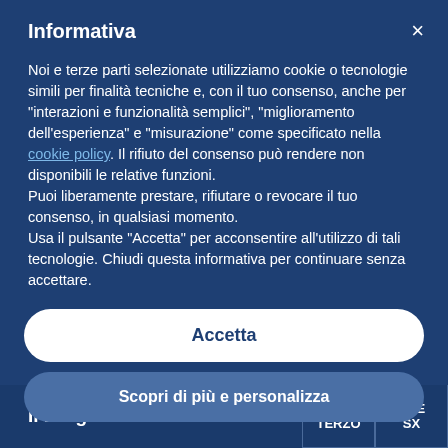Informativa
Noi e terze parti selezionate utilizziamo cookie o tecnologie simili per finalità tecniche e, con il tuo consenso, anche per “interazioni e funzionalità semplici”, “miglioramento dell’esperienza” e “misurazione” come specificato nella cookie policy. Il rifiuto del consenso può rendere non disponibili le relative funzioni.
Puoi liberamente prestare, rifiutare o revocare il tuo consenso, in qualsiasi momento.
Usa il pulsante “Accetta” per acconsentire all’utilizzo di tali tecnologie. Chiudi questa informativa per continuare senza accettare.
Accetta
Scopri di più e personalizza
Il Dirigente
| PIANO TERZO | DUE SX |
| --- | --- |